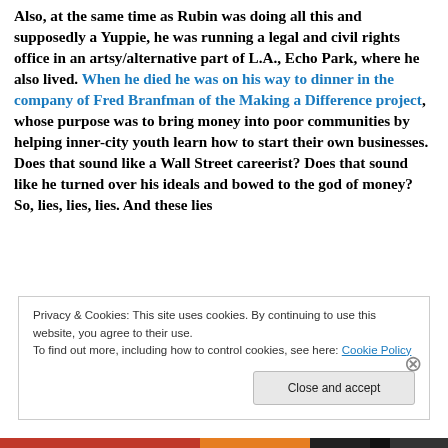Also, at the same time as Rubin was doing all this and supposedly a Yuppie, he was running a legal and civil rights office in an artsy/alternative part of L.A., Echo Park, where he also lived. When he died he was on his way to dinner in the company of Fred Branfman of the Making a Difference project, whose purpose was to bring money into poor communities by helping inner-city youth learn how to start their own businesses. Does that sound like a Wall Street careerist? Does that sound like he turned over his ideals and bowed to the god of money? So, lies, lies, lies. And these lies
Privacy & Cookies: This site uses cookies. By continuing to use this website, you agree to their use.
To find out more, including how to control cookies, see here: Cookie Policy